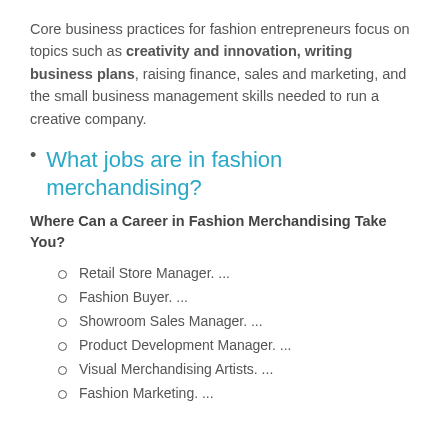Core business practices for fashion entrepreneurs focus on topics such as creativity and innovation, writing business plans, raising finance, sales and marketing, and the small business management skills needed to run a creative company.
What jobs are in fashion merchandising?
Where Can a Career in Fashion Merchandising Take You?
Retail Store Manager. ...
Fashion Buyer. ...
Showroom Sales Manager. ...
Product Development Manager. ...
Visual Merchandising Artists. ...
Fashion Marketing. ...